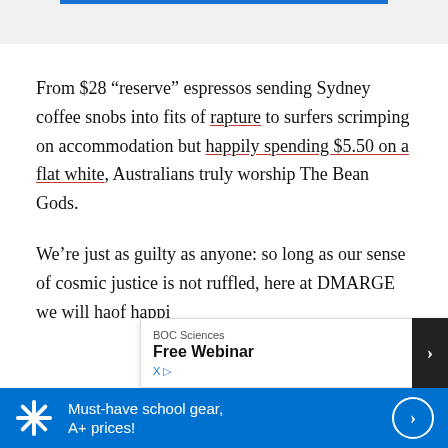From $28 “reserve” espressos sending Sydney coffee snobs into fits of rapture to surfers scrimping on accommodation but happily spending $5.50 on a flat white, Australians truly worship The Bean Gods.
We’re just as guilty as anyone: so long as our sense of cosmic justice is not ruffled, here at DMARGE we will ha[ve] ... of happi[ness]
[Figure (screenshot): BOC Sciences Free Webinar advertisement overlay with OPEN button, and Walmart blue banner ad reading 'Must-have school gear, A+ prices!' with circular arrow button]